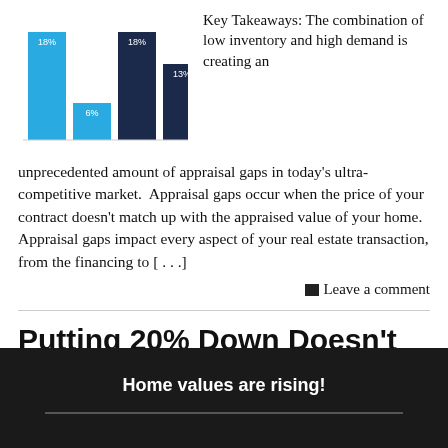[Figure (grouped-bar-chart): Appraisal gaps chart]
Key Takeaways: The combination of low inventory and high demand is creating an unprecedented amount of appraisal gaps in today’s ultra-competitive market. Appraisal gaps occur when the price of your contract doesn’t match up with the appraised value of your home. Appraisal gaps impact every aspect of your real estate transaction, from the financing to […]
Leave a comment
Putting 20% Down Doesn’t Mean What It Used To
Home values are rising!